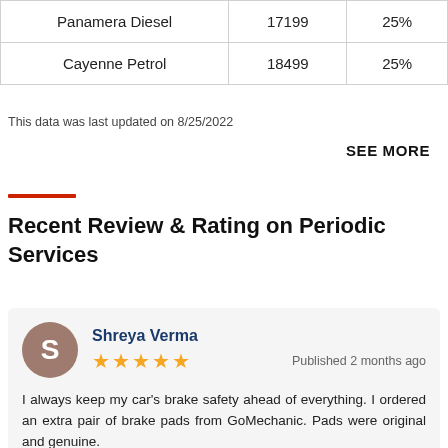|  |  |  |
| --- | --- | --- |
| Panamera Diesel | 17199 | 25% |
| Cayenne Petrol | 18499 | 25% |
This data was last updated on 8/25/2022
SEE MORE
Recent Review & Rating on Periodic Services
Shreya Verma
★★★★★  Published 2 months ago
I always keep my car's brake safety ahead of everything. I ordered an extra pair of brake pads from GoMechanic. Pads were original and genuine.